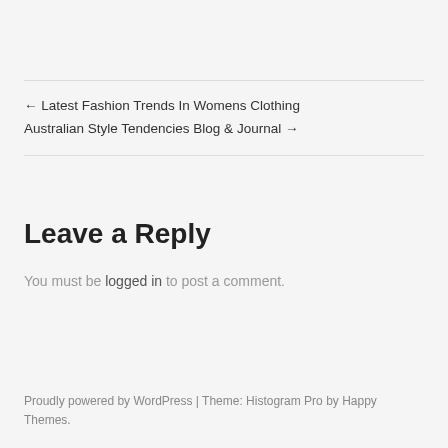← Latest Fashion Trends In Womens Clothing
Australian Style Tendencies Blog & Journal →
Leave a Reply
You must be logged in to post a comment.
Proudly powered by WordPress | Theme: Histogram Pro by Happy Themes.